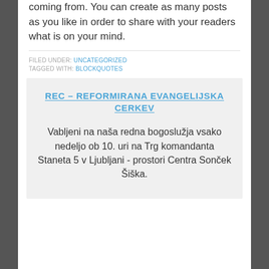coming from. You can create as many posts as you like in order to share with your readers what is on your mind.
FILED UNDER: UNCATEGORIZED
TAGGED WITH: BLOCKQUOTES
REC – REFORMIRANA EVANGELIJSKA CERKEV
Vabljeni na naša redna bogoslužja vsako nedeljo ob 10. uri na Trg komandanta Staneta 5 v Ljubljani - prostori Centra Sonček Šiška.